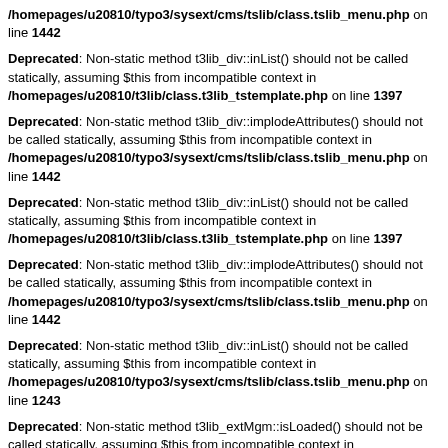/homepages/u20810/typo3/sysext/cms/tslib/class.tslib_menu.php on line 1442
Deprecated: Non-static method t3lib_div::inList() should not be called statically, assuming $this from incompatible context in /homepages/u20810/t3lib/class.t3lib_tstemplate.php on line 1397
Deprecated: Non-static method t3lib_div::implodeAttributes() should not be called statically, assuming $this from incompatible context in /homepages/u20810/typo3/sysext/cms/tslib/class.tslib_menu.php on line 1442
Deprecated: Non-static method t3lib_div::inList() should not be called statically, assuming $this from incompatible context in /homepages/u20810/t3lib/class.t3lib_tstemplate.php on line 1397
Deprecated: Non-static method t3lib_div::implodeAttributes() should not be called statically, assuming $this from incompatible context in /homepages/u20810/typo3/sysext/cms/tslib/class.tslib_menu.php on line 1442
Deprecated: Non-static method t3lib_div::inList() should not be called statically, assuming $this from incompatible context in /homepages/u20810/typo3/sysext/cms/tslib/class.tslib_menu.php on line 1243
Deprecated: Non-static method t3lib_extMgm::isLoaded() should not be called statically, assuming $this from incompatible context in /homepages/u20810/typo3/sysext/cms/tslib/class.tslib_content.php on line 465